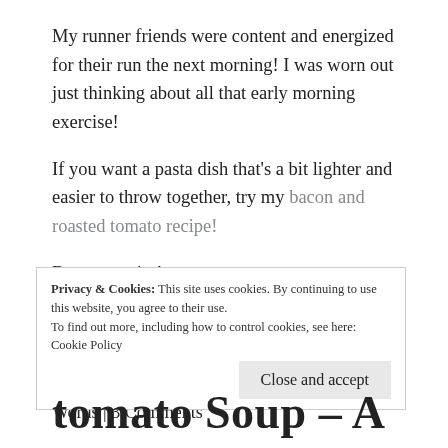My runner friends were content and energized for their run the next morning! I was worn out just thinking about all that early morning exercise!
If you want a pasta dish that's a bit lighter and easier to throw together, try my bacon and roasted tomato recipe!
Buon appetito!
By bradthegourmand in bread, comfort food, Cooking for a Crowd, Italian cooking, kid-friendly meals, pasta | March 23, 2016 | 558 Words | 3 Comments
Privacy & Cookies: This site uses cookies. By continuing to use this website, you agree to their use. To find out more, including how to control cookies, see here: Cookie Policy
Close and accept
tomato Soup – A Heartor